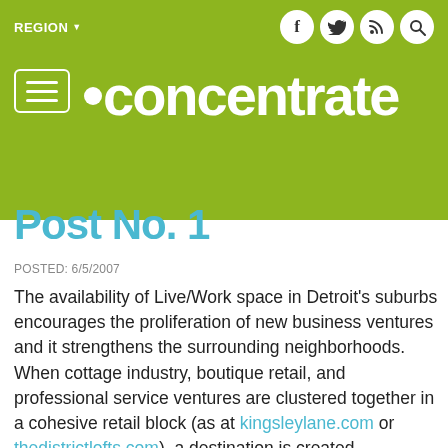concentrate — REGION navigation with social icons
Post title (partially visible)
POSTED: 6/5/2007
The availability of Live/Work space in Detroit's suburbs encourages the proliferation of new business ventures and it strengthens the surrounding neighborhoods. When cottage industry, boutique retail, and professional service ventures are clustered together in a cohesive retail block (as at kingsleylane.com or thedistrictlofts.com), a destination is created. Scattered, these small businesses would not have the same marketing presence, impact, or pull.